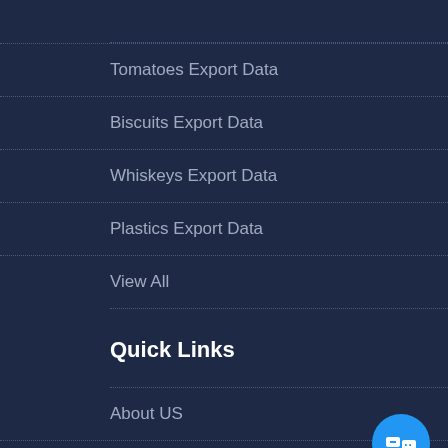Tomatoes Export Data
Biscuits Export Data
Whiskeys Export Data
Plastics Export Data
View All
Quick Links
About US
Pricing